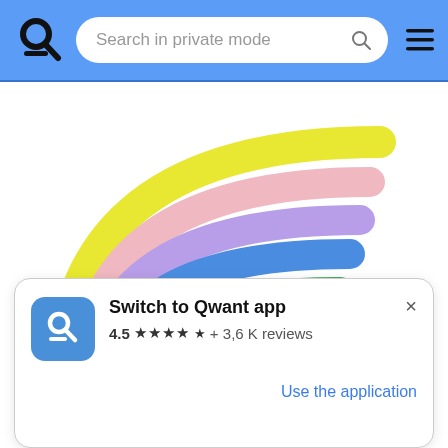[Figure (screenshot): Qwant browser app header with blue background, Qwant logo on left, search bar reading 'Search in private mode', search icon, and hamburger menu icon on right]
[Figure (illustration): Rainbow illustration with four arcs in yellow, pink, purple, blue, and green colors on white background]
[Figure (infographic): App promotion card with Qwant app icon (Q logo on blue background), title 'Switch to Qwant app', rating '4.5' with 4.5 stars and '+ 3,6 K reviews', close button X, and 'Use the application' blue link]